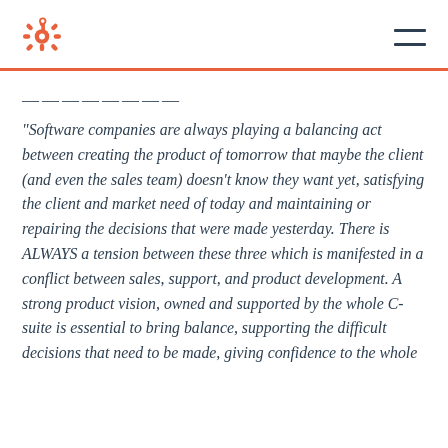HubSpot logo and navigation
--------
“Software companies are always playing a balancing act between creating the product of tomorrow that maybe the client (and even the sales team) doesn’t know they want yet, satisfying the client and market need of today and maintaining or repairing the decisions that were made yesterday. There is ALWAYS a tension between these three which is manifested in a conflict between sales, support, and product development. A strong product vision, owned and supported by the whole C-suite is essential to bring balance, supporting the difficult decisions that need to be made, giving confidence to the whole